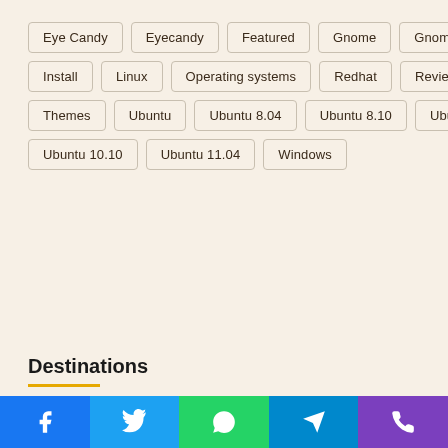Eye Candy
Eyecandy
Featured
Gnome
Gnome 3
Install
Linux
Operating systems
Redhat
Reviews
Themes
Ubuntu
Ubuntu 8.04
Ubuntu 8.10
Ubuntu 9.04
Ubuntu 10.10
Ubuntu 11.04
Windows
Destinations
Ubuntu 76
IT News 42
Featured 12
Linux 10
CentOS
OpenStack